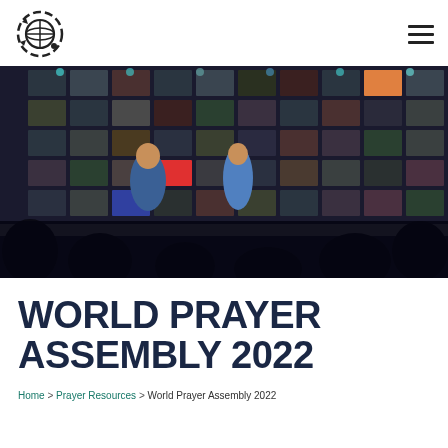Logo and navigation menu
[Figure (photo): Two speakers on a stage in front of a large video wall displaying many video conference screens. Audience silhouettes visible in foreground. Event lighting with stage lights visible above.]
WORLD PRAYER ASSEMBLY 2022
Home > Prayer Resources > World Prayer Assembly 2022